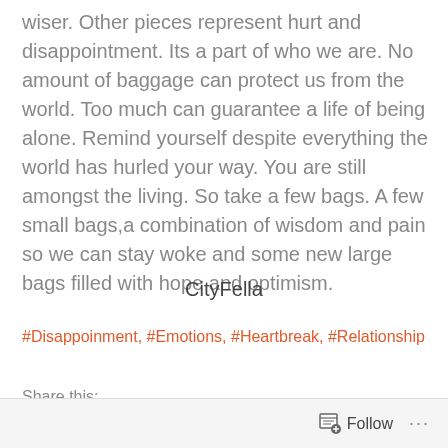wiser. Other pieces represent hurt and disappointment. Its a part of who we are. No amount of baggage can protect us from the world. Too much can guarantee a life of being alone. Remind yourself despite everything the world has hurled your way. You are still amongst the living. So take a few bags. A few small bags,a combination of wisdom and pain so we can stay woke and some new large bags filled with hope and optimism.
CityFella
#Disappoinment, #Emotions, #Heartbreak, #Relationship
Share this:
Follow ...